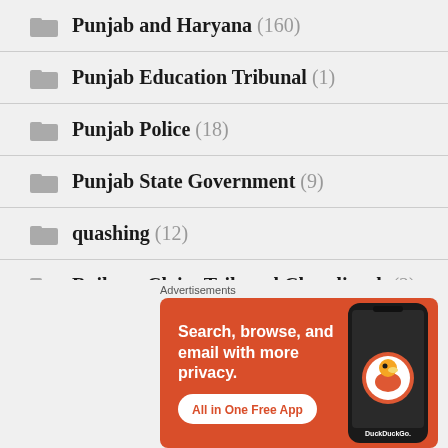Punjab and Haryana (160)
Punjab Education Tribunal (1)
Punjab Police (18)
Punjab State Government (9)
quashing (12)
Railway Claim Tribunal Chandigarh (2)
Rape (14)
[Figure (infographic): DuckDuckGo advertisement banner: orange background with text 'Search, browse, and email with more privacy. All in One Free App' and a smartphone image showing the DuckDuckGo app]